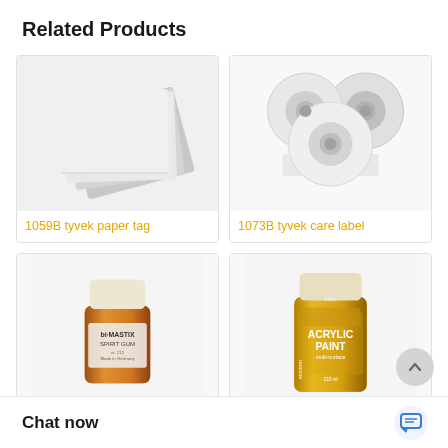Related Products
[Figure (photo): Stack of tyvek paper tags, light gray/white, multiple overlapping sheets]
1059B tyvek paper tag
[Figure (photo): Three rolls of tyvek care label tape, white, stacked]
1073B tyvek care label
[Figure (photo): Small bottle of bi-MASTIX Spirit Gum, gold/amber colored bottle with white cap]
[Figure (photo): Yellow bottle of satin Acrylic Paint by Modern, yellow color]
Chat now